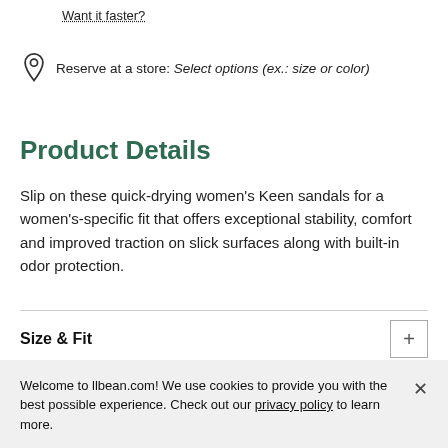Want it faster?
Reserve at a store: Select options (ex.: size or color)
Product Details
Slip on these quick-drying women's Keen sandals for a women's-specific fit that offers exceptional stability, comfort and improved traction on slick surfaces along with built-in odor protection.
Size & Fit
Welcome to llbean.com! We use cookies to provide you with the best possible experience. Check out our privacy policy to learn more.